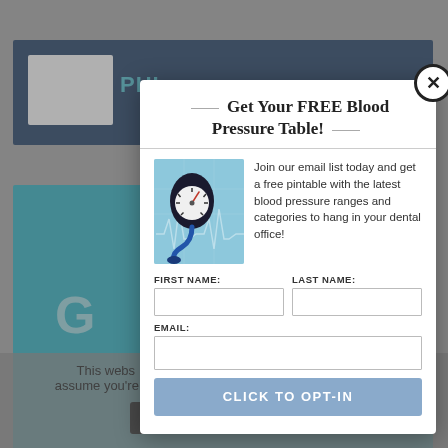[Figure (screenshot): Website background showing a medical/dental website with a dark blue header, teal content section, and a cookie consent bar at the bottom.]
Get Your FREE Blood Pressure Table!
[Figure (photo): Photo of a blood pressure sphygmomanometer gauge on a blue background with ECG chart lines.]
Join our email list today and get a free pintable with the latest blood pressure ranges and categories to hang in your dental office!
FIRST NAME:
LAST NAME:
EMAIL:
CLICK TO OPT-IN
This webs ence. We'll assume you're ok with this, but you can opt-out if you wish.
Accept
Read More